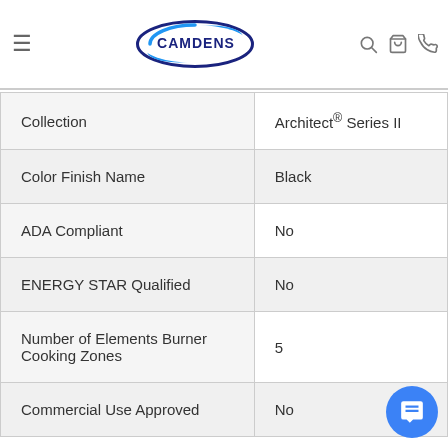Camdens — navigation header with logo, hamburger menu, search, cart, and phone icons
| Collection | Architect® Series II |
| Color Finish Name | Black |
| ADA Compliant | No |
| ENERGY STAR Qualified | No |
| Number of Elements Burner Cooking Zones | 5 |
| Commercial Use Approved | No |